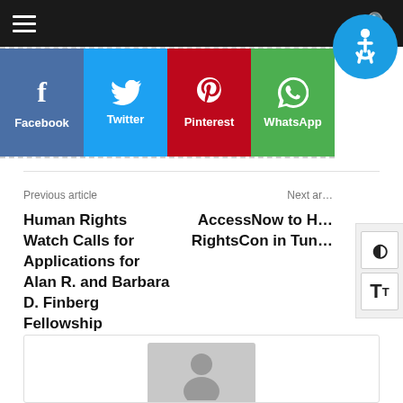Navigation bar with hamburger menu and search icon
[Figure (infographic): Social share buttons: Facebook, Twitter, Pinterest, WhatsApp with colored backgrounds and icons]
[Figure (logo): Accessibility icon (wheelchair symbol) in blue circle]
Previous article
Next ar...
Human Rights Watch Calls for Applications for Alan R. and Barbara D. Finberg Fellowship
AccessNow to H... RightsCon in Tun...
[Figure (photo): Default avatar placeholder image (gray silhouette of a person)]